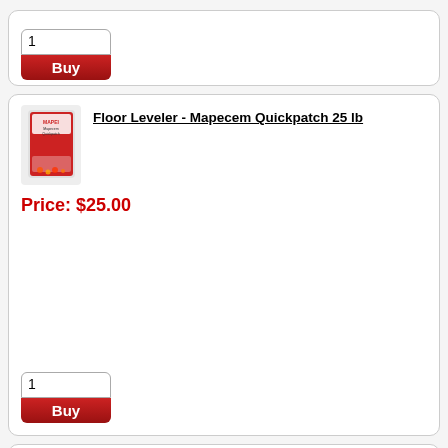[Figure (other): Buy widget with quantity input showing '1' and red Buy button, bottom of a product card]
Floor Leveler - Mapecem Quickpatch 25 lb
[Figure (photo): Product image: red bag of Mapecem Quickpatch floor leveler]
Price: $25.00
[Figure (other): Buy widget with quantity input showing '1' and red Buy button]
Floor Leveler - Novoplan 2 Plus - 50 LB Bag
[Figure (photo): Product image: red bag of Novoplan 2 Plus floor leveler]